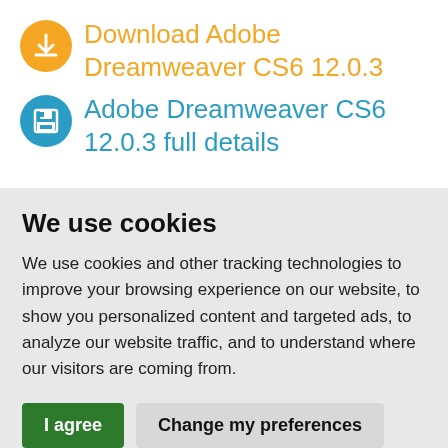Download Adobe Dreamweaver CS6 12.0.3
Adobe Dreamweaver CS6 12.0.3 full details
We use cookies
We use cookies and other tracking technologies to improve your browsing experience on our website, to show you personalized content and targeted ads, to analyze our website traffic, and to understand where our visitors are coming from.
I agree
Change my preferences